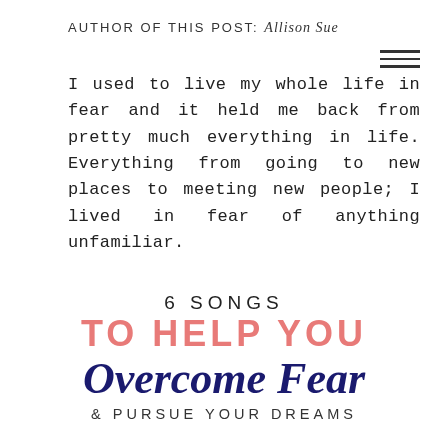AUTHOR OF THIS POST: Allison Sue
I used to live my whole life in fear and it held me back from pretty much everything in life. Everything from going to new places to meeting new people; I lived in fear of anything unfamiliar.
6 SONGS TO HELP YOU Overcome Fear & PURSUE YOUR DREAMS